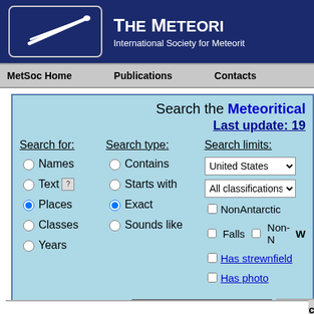[Figure (logo): The Meteoritical Society logo with meteor streak in white box on dark blue banner header]
THE METEORITICAL SOCIETY - International Society for Meteoritics
MetSoc Home   Publications   Contacts
Search the Meteoritical Bulletin Database
Last update: 19...
Search for: Names, Text, Places (selected), Classes, Years
Search type: Contains, Starts with, Exact (selected), Sounds like
Search limits: United States, All classifications, NonAntarctic, Falls, Non-NWA, Has strewnfield, Has photo
Search text: Colorado
Search! button